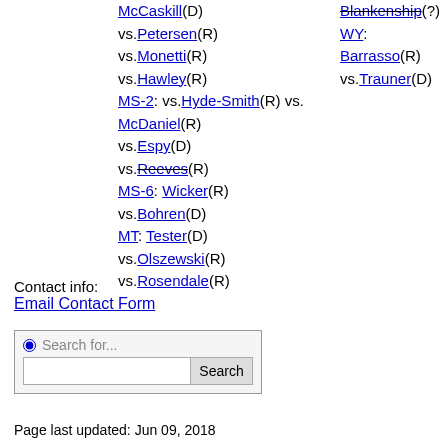MS: McCaskill(D) vs.Petersen(R) vs.Monetti(R) vs.Hawley(R) MS-2: vs.Hyde-Smith(R) vs. McDaniel(R) vs.Espy(D) vs.Reeves(R) MS-6: Wicker(R) vs.Bohren(D) MT: Tester(D) vs.Olszewski(R) vs.Rosendale(R)
WY: Barrasso(R) vs.Trauner(D)
Contact info:
Email Contact Form
Search for...
Page last updated: Jun 09, 2018